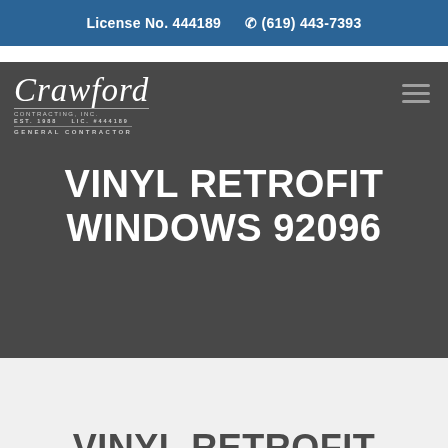License No. 444189   (619) 443-7393
[Figure (logo): Crawford Contracting Inc. General Contractor logo in white script on dark grey background]
VINYL RETROFIT WINDOWS 92096
VINYL RETROFIT